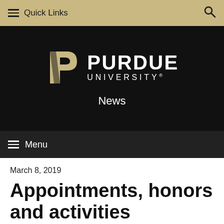≡ Quick Links  🔍
[Figure (logo): Purdue University logo with stylized P and PURDUE UNIVERSITY text on black background]
News
≡ Menu
March 8, 2019
Appointments, honors and activities